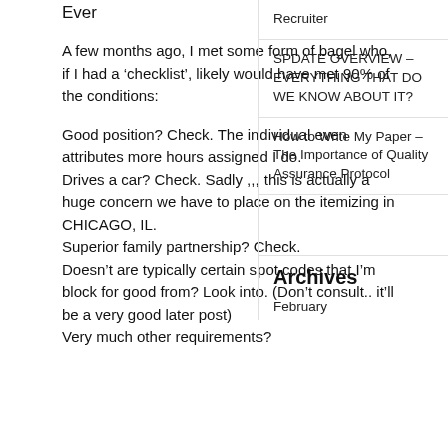Ever
A few months ago, I met some form of bagel who, if I had a ‘checklist’, likely would have met 90% of the conditions:
Good position? Check. The individual even attributes more hours assigned I do.
Drives a car? Check. Sadly ,,, this is actually a huge concern we have to place on the itemizing in CHICAGO, IL.
Superior family partnership? Check.
Doesn’t are typically certain spot codes that I’m block for good from? Look into. (Don’t consult.. it’ll be a very good later post)
Very much other requirements?
Recruiter
SPDATE OVERVIEW – EVERYTHING THAT DO WE KNOW ABOUT IT?
How to Write My Paper – The Importance of Quality Assurance Protocol
Archives
February